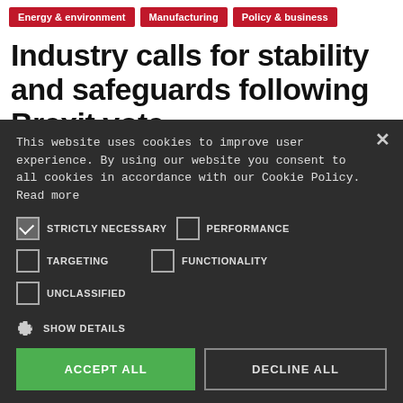Energy & environment
Manufacturing
Policy & business
Industry calls for stability and safeguards following Brexit vote
News Analysis | 6 min read
This website uses cookies to improve user experience. By using our website you consent to all cookies in accordance with our Cookie Policy. Read more
STRICTLY NECESSARY | PERFORMANCE | TARGETING | FUNCTIONALITY | UNCLASSIFIED
SHOW DETAILS
ACCEPT ALL | DECLINE ALL